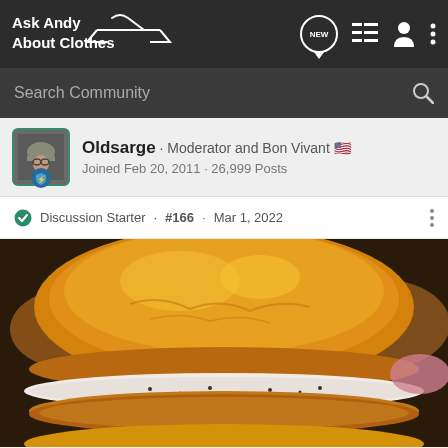Ask Andy About Clothes
Search Community
Oldsarge · Moderator and Bon Vivant 🇺🇸
Joined Feb 20, 2011 · 26,999 Posts
Discussion Starter · #166 · Mar 1, 2022
[Figure (photo): Close-up photo of a fried chicken sandwich on a glazed brioche bun with white creamy sauce, golden brown bun glistening under light, multiple sandwiches visible in background]